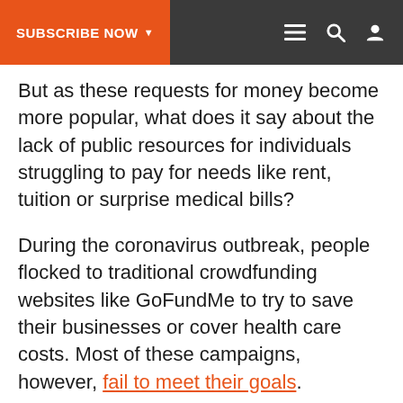SUBSCRIBE NOW
But as these requests for money become more popular, what does it say about the lack of public resources for individuals struggling to pay for needs like rent, tuition or surprise medical bills?
During the coronavirus outbreak, people flocked to traditional crowdfunding websites like GoFundMe to try to save their businesses or cover health care costs. Most of these campaigns, however, fail to meet their goals.
These larger campaigns have overshadowed the constant flurry of smaller requests for digital handouts on social media.